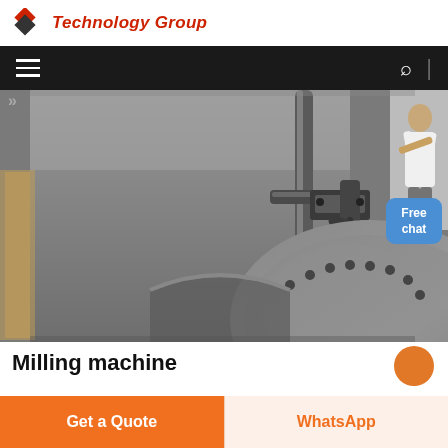Technology Group
[Figure (photo): Close-up photo of industrial milling machine components showing metal housing, clamps, and circular disc with bolts]
Milling machine
[Figure (illustration): Free chat button overlay with blue background]
Get a Quote
WhatsApp